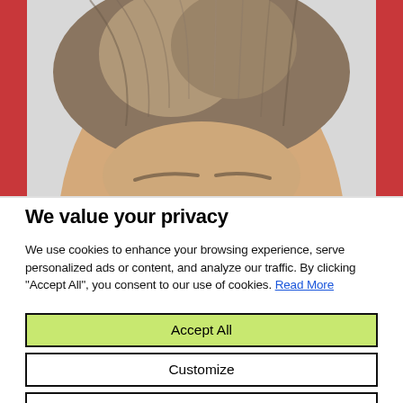[Figure (photo): Close-up photo of a person's face showing forehead and hair against a light background, framed by red borders on left and right sides.]
We value your privacy
We use cookies to enhance your browsing experience, serve personalized ads or content, and analyze our traffic. By clicking "Accept All", you consent to our use of cookies. Read More
Accept All
Customize
Reject All